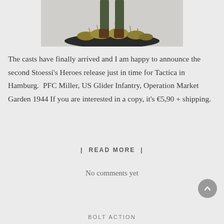[Figure (photo): Close-up of a painted miniature figure base with grass tufts on a dark oval base, grey background, legs and boots of a soldier figure visible above]
The casts have finally arrived and I am happy to announce the second Stoessi's Heroes release just in time for Tactica in Hamburg.  PFC Miller, US Glider Infantry, Operation Market Garden 1944 If you are interested in a copy, it's €5,90 + shipping.
| READ MORE |
No comments yet
BOLT ACTION